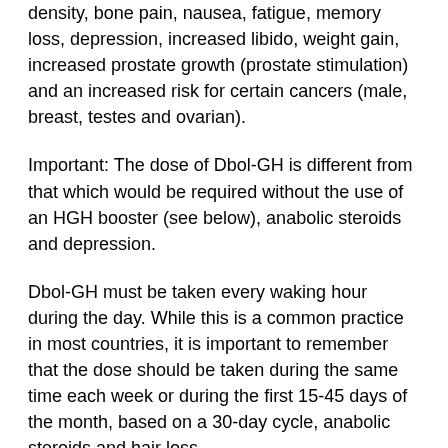density, bone pain, nausea, fatigue, memory loss, depression, increased libido, weight gain, increased prostate growth (prostate stimulation) and an increased risk for certain cancers (male, breast, testes and ovarian).
Important: The dose of Dbol-GH is different from that which would be required without the use of an HGH booster (see below), anabolic steroids and depression.
Dbol-GH must be taken every waking hour during the day. While this is a common practice in most countries, it is important to remember that the dose should be taken during the same time each week or during the first 15-45 days of the month, based on a 30-day cycle, anabolic steroids and hair loss.
In other words, Dbol-GH should be taken on the first day of the month, on the last day of the month, and on any day during the rest of